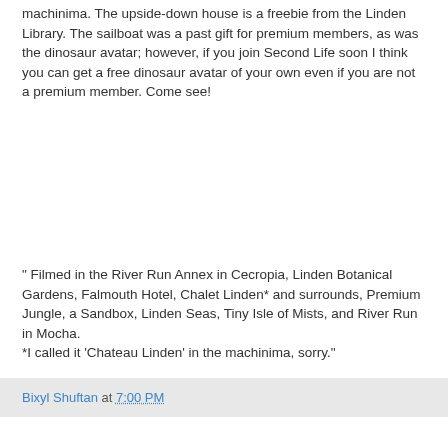machinima. The upside-down house is a freebie from the Linden Library. The sailboat was a past gift for premium members, as was the dinosaur avatar; however, if you join Second Life soon I think you can get a free dinosaur avatar of your own even if you are not a premium member. Come see!
" Filmed in the River Run Annex in Cecropia, Linden Botanical Gardens, Falmouth Hotel, Chalet Linden* and surrounds, Premium Jungle, a Sandbox, Linden Seas, Tiny Isle of Mists, and River Run in Mocha.
*I called it 'Chateau Linden' in the machinima, sorry."
Bixyl Shuftan at 7:00 PM
No comments:
Post a Comment